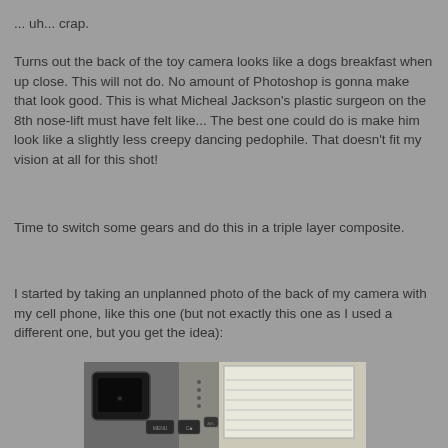... uh... crap.
Turns out the back of the toy camera looks like a dogs breakfast when up close.  This will not do.  No amount of Photoshop is gonna make that look good.  This is what Micheal Jackson's plastic surgeon on the 8th nose-lift must have felt like... The best one could do is make him look like a slightly less creepy dancing pedophile.  That doesn't fit my vision at all for this shot!
Time to switch some gears and do this in a triple layer composite.
I started by taking an unplanned photo of the back of my camera with my cell phone, like this one (but not exactly this one as I used a different one, but you get the idea):
[Figure (photo): Photo of the back of a camera showing the viewfinder eyepiece, LCD screen with lined paper visible, and camera controls/buttons]